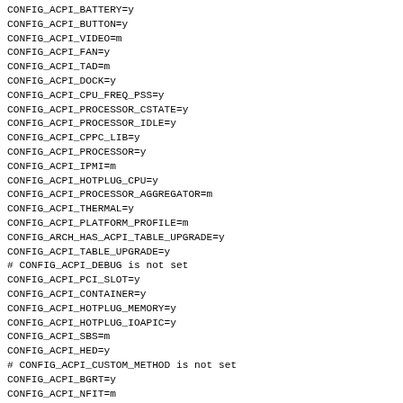CONFIG_ACPI_BATTERY=y
CONFIG_ACPI_BUTTON=y
CONFIG_ACPI_VIDEO=m
CONFIG_ACPI_FAN=y
CONFIG_ACPI_TAD=m
CONFIG_ACPI_DOCK=y
CONFIG_ACPI_CPU_FREQ_PSS=y
CONFIG_ACPI_PROCESSOR_CSTATE=y
CONFIG_ACPI_PROCESSOR_IDLE=y
CONFIG_ACPI_CPPC_LIB=y
CONFIG_ACPI_PROCESSOR=y
CONFIG_ACPI_IPMI=m
CONFIG_ACPI_HOTPLUG_CPU=y
CONFIG_ACPI_PROCESSOR_AGGREGATOR=m
CONFIG_ACPI_THERMAL=y
CONFIG_ACPI_PLATFORM_PROFILE=m
CONFIG_ARCH_HAS_ACPI_TABLE_UPGRADE=y
CONFIG_ACPI_TABLE_UPGRADE=y
# CONFIG_ACPI_DEBUG is not set
CONFIG_ACPI_PCI_SLOT=y
CONFIG_ACPI_CONTAINER=y
CONFIG_ACPI_HOTPLUG_MEMORY=y
CONFIG_ACPI_HOTPLUG_IOAPIC=y
CONFIG_ACPI_SBS=m
CONFIG_ACPI_HED=y
# CONFIG_ACPI_CUSTOM_METHOD is not set
CONFIG_ACPI_BGRT=y
CONFIG_ACPI_NFIT=m
# CONFIG_NFIT_SECURITY_DEBUG is not set
CONFIG_ACPI_NUMA=y